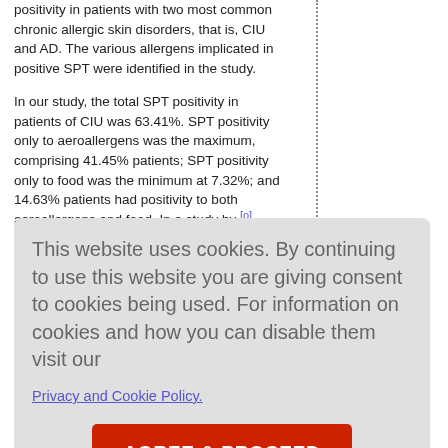positivity in patients with two most common chronic allergic skin disorders, that is, CIU and AD. The various allergens implicated in positive SPT were identified in the study.
In our study, the total SPT positivity in patients of CIU was 63.41%. SPT positivity only to aeroallergens was the maximum, comprising 41.45% patients; SPT positivity only to food was the minimum at 7.32%; and 14.63% patients had positivity to both aeroallergens and food. In a study by [01]
This website uses cookies. By continuing to use this website you are giving consent to cookies being used. For information on cookies and how you can disable them visit our
Privacy and Cookie Policy.
AGREE & PROCEED